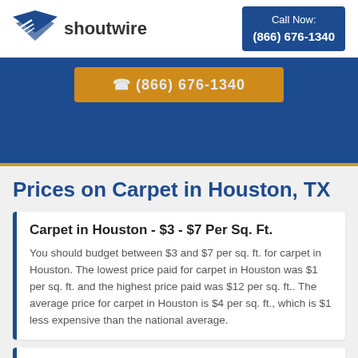shoutwire | Call Now: (866) 676-1340
[Figure (other): Blue banner with an orange button showing a partially obscured phone number]
Prices on Carpet in Houston, TX
Carpet in Houston - $3 - $7 Per Sq. Ft.
You should budget between $3 and $7 per sq. ft. for carpet in Houston. The lowest price paid for carpet in Houston was $1 per sq. ft. and the highest price paid was $12 per sq. ft.. The average price for carpet in Houston is $4 per sq. ft., which is $1 less expensive than the national average.